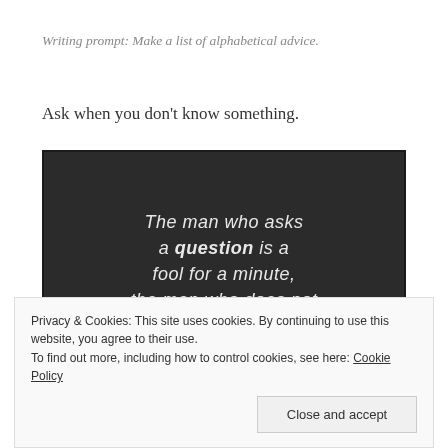Writing prompt: Make a list of alphabetical advice.
Ask when you don't know something.
[Figure (photo): Chalkboard with white handwritten text reading: 'The man who asks a question is a fool for a minute, the man who does not ask is a fool for life.']
Privacy & Cookies: This site uses cookies. By continuing to use this website, you agree to their use.
To find out more, including how to control cookies, see here: Cookie Policy
Close and accept